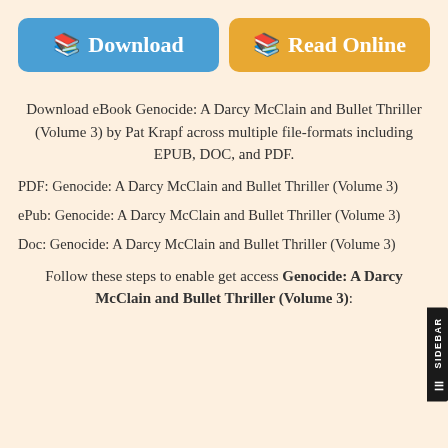[Figure (other): Two buttons side by side: a blue 'Download' button and an orange 'Read Online' button, each with a book icon]
Download eBook Genocide: A Darcy McClain and Bullet Thriller (Volume 3) by Pat Krapf across multiple file-formats including EPUB, DOC, and PDF.
PDF: Genocide: A Darcy McClain and Bullet Thriller (Volume 3)
ePub: Genocide: A Darcy McClain and Bullet Thriller (Volume 3)
Doc: Genocide: A Darcy McClain and Bullet Thriller (Volume 3)
Follow these steps to enable get access Genocide: A Darcy McClain and Bullet Thriller (Volume 3):